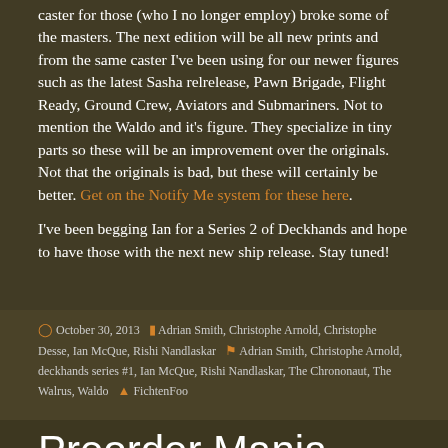caster for those (who I no longer employ) broke some of the masters. The next edition will be all new prints and from the same caster I've been using for our newer figures such as the latest Sasha relrelease, Pawn Brigade, Flight Ready, Ground Crew, Aviators and Submariners. Not to mention the Waldo and it's figure. They specialize in tiny parts so these will be an improvement over the originals. Not that the originals is bad, but these will certainly be better. Get on the Notify Me system for these here.
I've been begging Ian for a Series 2 of Deckhands and hope to have those with the next new ship release. Stay tuned!
October 30, 2013  Adrian Smith, Christophe Arnold, Christophe Desse, Ian McQue, Rishi Nandlaskar  Adrian Smith, Christophe Arnold, deckhands series #1, Ian McQue, Rishi Nandlaskar, The Chrononaut, The Walrus, Waldo  FichtenFoo
Preorder Mania Tomorrow! (6.28.2012)